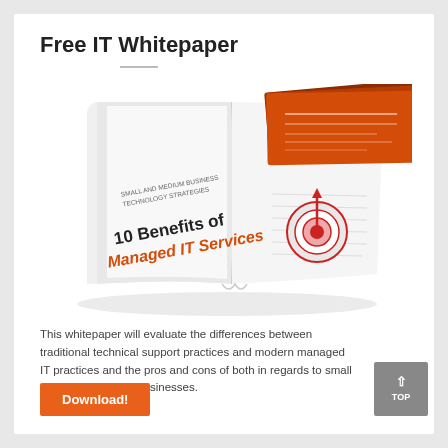Free IT Whitepaper
[Figure (illustration): Open book/whitepaper showing '10 Benefits of Managed IT Services' cover with orange design elements and a target bullseye icon]
This whitepaper will evaluate the differences between traditional technical support practices and modern managed IT practices and the pros and cons of both in regards to small and medium-sized businesses.